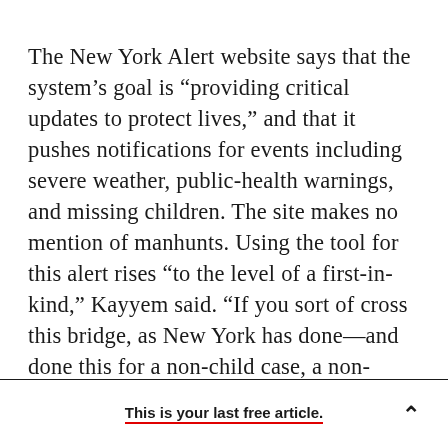The New York Alert website says that the system's goal is “providing critical updates to protect lives,” and that it pushes notifications for events including severe weather, public-health warnings, and missing children. The site makes no mention of manhunts. Using the tool for this alert rises “to the level of a first-in-kind,” Kayyem said. “If you sort of cross this bridge, as New York has done—and done this for a non-child case, a non-Amber case—what are their standards going to be? And that’s worth asking. Because you couldn’t do it every time there was a shooting.”
This is your last free article.